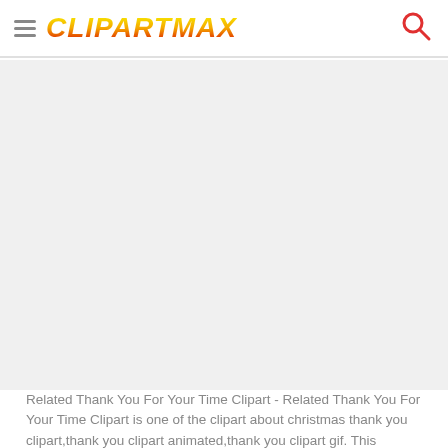ClipartMax
[Figure (other): Large empty gray content area placeholder for a clipart image]
Related Thank You For Your Time Clipart - Related Thank You For Your Time Clipart is one of the clipart about christmas thank you clipart,thank you clipart animated,thank you clipart gif. This